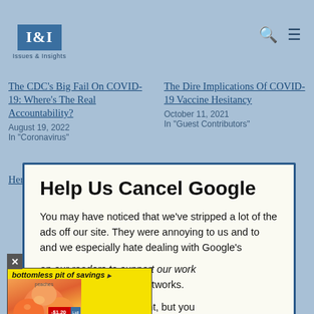I&I Issues & Insights
The CDC's Big Fail On COVID-19: Where's The Real Accountability?
August 19, 2022
In "Coronavirus"
The Dire Implications Of COVID-19 Vaccine Hesitancy
October 11, 2021
In "Guest Contributors"
Here's The Good COVID-
Help Us Cancel Google
You may have noticed that we've stripped a lot of the ads off our site. They were annoying to us and to and we especially hate dealing with Google's
on our readers to support our work pennies from giant ad networks.
you to access our content, but you this site going with a donation.
[Figure (advertisement): Lidl grocery store advertisement for peaches. Yellow background with 'bottomless pit of savings' headline in black bold italic. Image of peaches. Price tag showing -$1.20 and €1.79. Lidl logo with 'suspiciously low-priced groceries' text.]